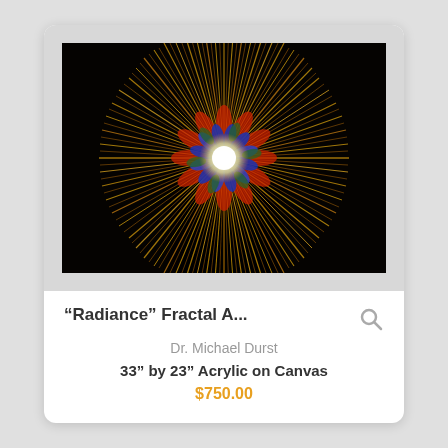[Figure (illustration): Fractal art image on black background showing a starburst/radiance pattern with golden radiating spikes emanating from a bright white central light source, with colorful blue, red, and green petals around the center, resembling a mandala or flower burst.]
“Radiance” Fractal A...
Dr. Michael Durst
33” by 23” Acrylic on Canvas
$750.00